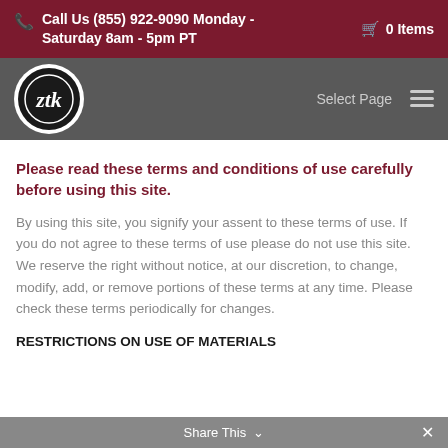📞 Call Us (855) 922-9090 Monday - Saturday 8am - 5pm PT   🛒 0 Items
[Figure (logo): ZTK circular logo with stylized letters on dark background]
Please read these terms and conditions of use carefully before using this site.
By using this site, you signify your assent to these terms of use. If you do not agree to these terms of use please do not use this site. We reserve the right without notice, at our discretion, to change, modify, add, or remove portions of these terms at any time. Please check these terms periodically for changes.
RESTRICTIONS ON USE OF MATERIALS
Share This ∨  ✕